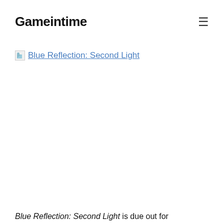Gameintime
[Figure (screenshot): Broken image placeholder with link text 'Blue Reflection: Second Light']
Blue Reflection: Second Light is due out for PlayStation 4 and Switch on October 21 in Japan,